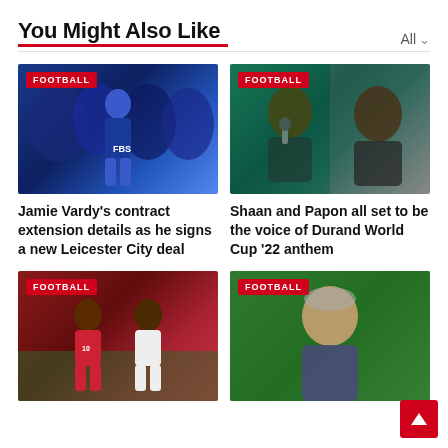You Might Also Like
[Figure (photo): Football player in Leicester City FBS jersey with blue balloon numbers in background, FOOTBALL badge overlay]
[Figure (photo): Two men (Shaan and Papon) smiling, one at microphone, FOOTBALL badge overlay]
Jamie Vardy's contract extension details as he signs a new Leicester City deal
Shaan and Papon all set to be the voice of Durand World Cup '22 anthem
[Figure (photo): Football match scene with Manchester United and Liverpool players, FOOTBALL badge overlay]
[Figure (photo): Older man in suit on green football pitch background, FOOTBALL badge overlay]